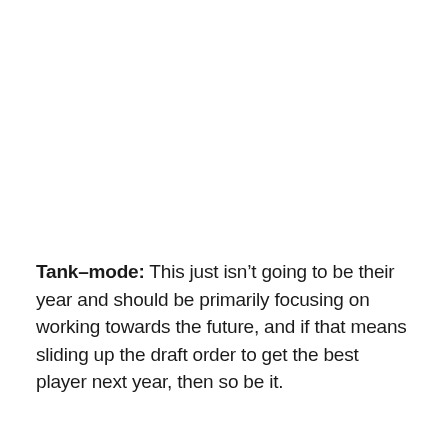Tank-mode: This just isn't going to be their year and should be primarily focusing on working towards the future, and if that means sliding up the draft order to get the best player next year, then so be it.